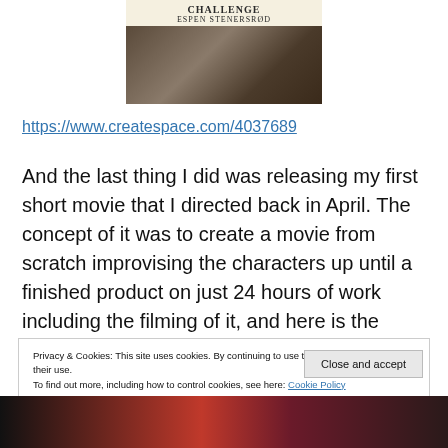[Figure (photo): Book cover showing title 'CHALLENGE' by Espen Stenersrod, upper part is cream/yellow with title text, lower part shows a dark wooden floor photo]
https://www.createspace.com/4037689
And the last thing I did was releasing my first short movie that I directed back in April. The concept of it was to create a movie from scratch improvising the characters up until a finished product on just 24 hours of work including the filming of it, and here is the result:
Privacy & Cookies: This site uses cookies. By continuing to use this website, you agree to their use.
To find out more, including how to control cookies, see here: Cookie Policy
Close and accept
[Figure (photo): Bottom portion of an image showing people, partially visible, appears to have red and dark colors]